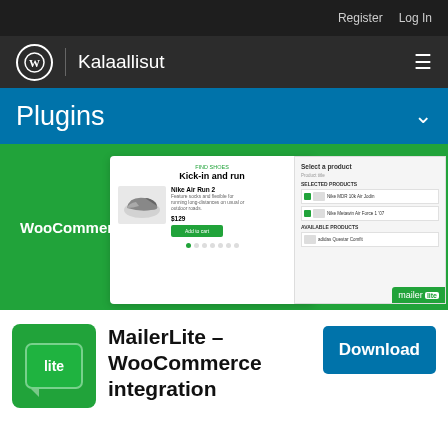Register   Log In
Kalaallisut
Plugins
[Figure (screenshot): WooCommerce banner with a product page mockup showing Nike Air Run 2 shoe and a MailerLite panel]
WooCommerce
[Figure (logo): MailerLite lite logo icon — green rounded square with white speech bubble containing 'lite']
MailerLite – WooCommerce integration
Download